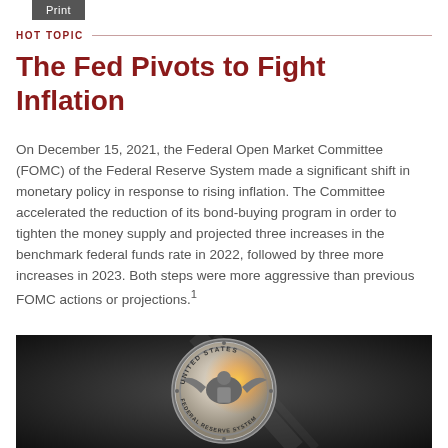Print
HOT TOPIC
The Fed Pivots to Fight Inflation
On December 15, 2021, the Federal Open Market Committee (FOMC) of the Federal Reserve System made a significant shift in monetary policy in response to rising inflation. The Committee accelerated the reduction of its bond-buying program in order to tighten the money supply and projected three increases in the benchmark federal funds rate in 2022, followed by three more increases in 2023. Both steps were more aggressive than previous FOMC actions or projections.¹
[Figure (photo): Close-up photograph of the United States Federal Reserve seal medallion, metallic silver coin with eagle and text reading UNITED STATES FEDERAL RESERVE SYSTEM]